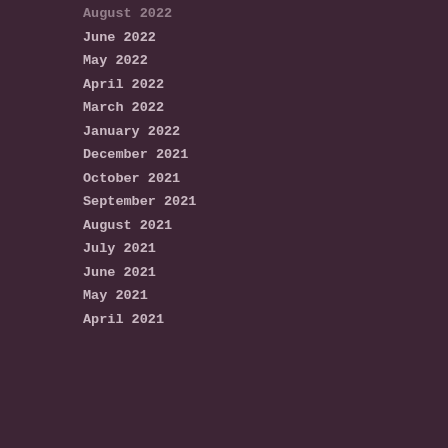August 2022
June 2022
May 2022
April 2022
March 2022
January 2022
December 2021
October 2021
September 2021
August 2021
July 2021
June 2021
May 2021
April 2021